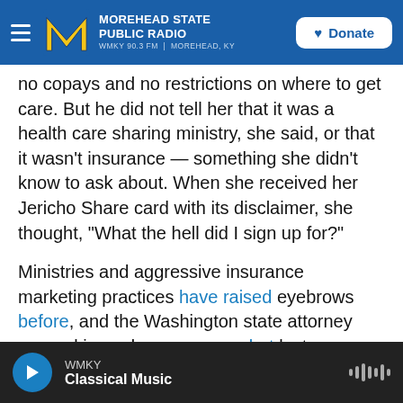MOREHEAD STATE PUBLIC RADIO — WMKY 90.3 FM | MOREHEAD, KY — Donate
no copays and no restrictions on where to get care. But he did not tell her that it was a health care sharing ministry, she said, or that it wasn't insurance — something she didn't know to ask about. When she received her Jericho Share card with its disclaimer, she thought, "What the hell did I sign up for?"
Ministries and aggressive insurance marketing practices have raised eyebrows before, and the Washington state attorney general issued a consumer alert last year about "ads and websites posing as the official health insurance
WMKY Classical Music